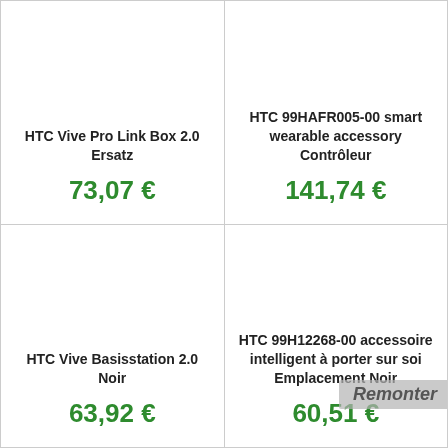HTC Vive Pro Link Box 2.0 Ersatz
73,07 €
HTC 99HAFR005-00 smart wearable accessory Contrôleur
141,74 €
HTC Vive Basisstation 2.0 Noir
63,92 €
HTC 99H12268-00 accessoire intelligent à porter sur soi Emplacement Noir
60,51 €